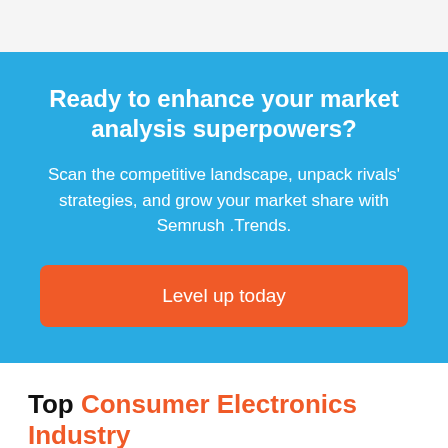Ready to enhance your market analysis superpowers?
Scan the competitive landscape, unpack rivals' strategies, and grow your market share with Semrush .Trends.
Level up today
Top Consumer Electronics Industry